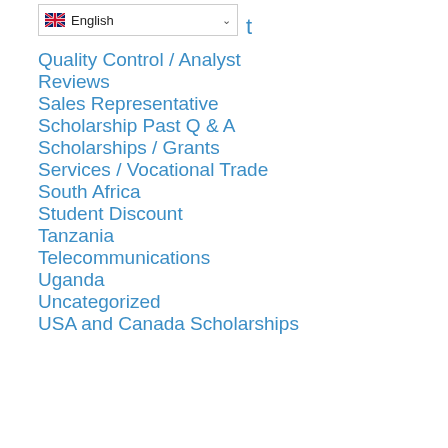Quality Control / Analyst
Reviews
Sales Representative
Scholarship Past Q & A
Scholarships / Grants
Services / Vocational Trade
South Africa
Student Discount
Tanzania
Telecommunications
Uganda
Uncategorized
USA and Canada Scholarships